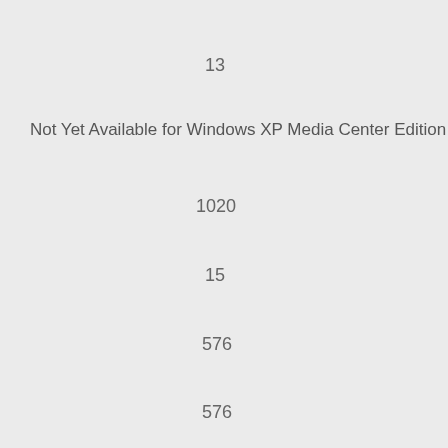13
Not Yet Available for Windows XP Media Center Edition
1020
15
576
576